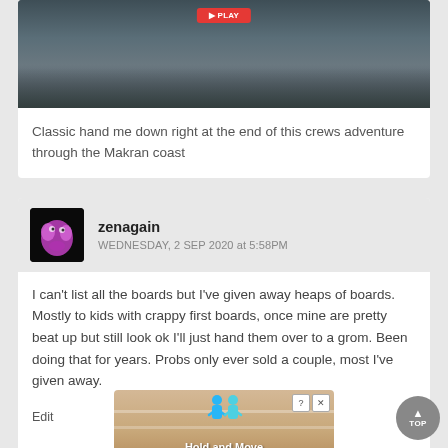[Figure (photo): Beach/coastal landscape screenshot with a red play button overlay at the top center]
Classic hand me down right at the end of this crews adventure through the Makran coast
[Figure (photo): User avatar: cartoon-like pink/magenta blob creature on black background]
zenagain
WEDNESDAY, 2 SEP 2020 at 5:58PM
I can't list all the boards but I've given away heaps of boards. Mostly to kids with crappy first boards, once mine are pretty beat up but still look ok I'll just hand them over to a grom. Been doing that for years. Probs only ever sold a couple, most I've given away.
Edit
[Figure (screenshot): Mobile game advertisement showing 'Hold and Move' with blue cartoon figures on a sandy background, with close (X) and help (?) buttons, partially overlapping the comment section]